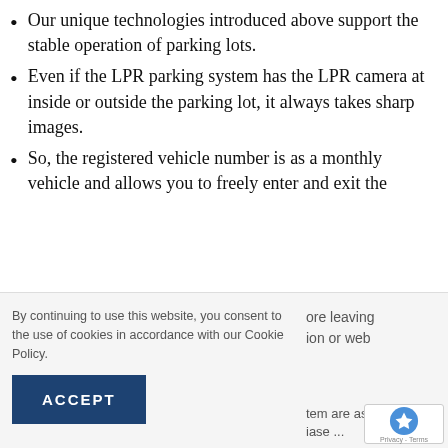Our unique technologies introduced above support the stable operation of parking lots.
Even if the LPR parking system has the LPR camera at inside or outside the parking lot, it always takes sharp images.
So, the registered vehicle number is as a monthly vehicle and allows you to freely enter and exit the
By continuing to use this website, you consent to the use of cookies in accordance with our Cookie Policy.
ore leaving
on or web
ACCEPT
tem are as
ase ...